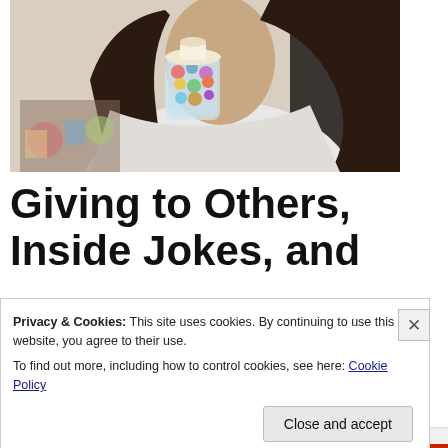[Figure (photo): A young woman with long dark hair holding a small decorative jar filled with colorful candies or cupcake-shaped sweets. She is wearing a white top, photographed indoors.]
Giving to Others, Inside Jokes, and
Privacy & Cookies: This site uses cookies. By continuing to use this website, you agree to their use.
To find out more, including how to control cookies, see here: Cookie Policy
Close and accept